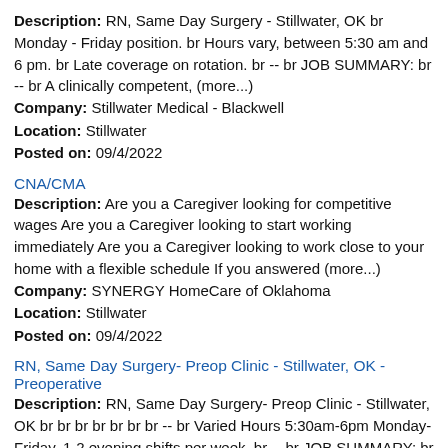Description: RN, Same Day Surgery - Stillwater, OK br Monday - Friday position. br Hours vary, between 5:30 am and 6 pm. br Late coverage on rotation. br -- br JOB SUMMARY: br -- br A clinically competent, (more...)
Company: Stillwater Medical - Blackwell
Location: Stillwater
Posted on: 09/4/2022
CNA/CMA
Description: Are you a Caregiver looking for competitive wages Are you a Caregiver looking to start working immediately Are you a Caregiver looking to work close to your home with a flexible schedule If you answered (more...)
Company: SYNERGY HomeCare of Oklahoma
Location: Stillwater
Posted on: 09/4/2022
RN, Same Day Surgery- Preop Clinic - Stillwater, OK - Preoperative
Description: RN, Same Day Surgery- Preop Clinic - Stillwater, OK br br br br br br br -- br Varied Hours 5:30am-6pm Monday-Friday. 1-2 evening shifts per week. br -- br JOB SUMMARY: br -- br (more...)
Company: Stillwater Medical - Blackwell
Location: Stillwater